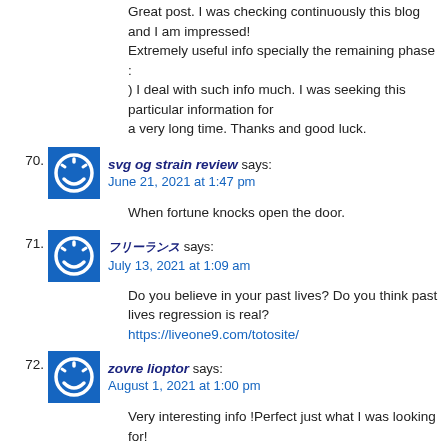Great post. I was checking continuously this blog and I am impressed! Extremely useful info specially the remaining phase : ) I deal with such info much. I was seeking this particular information for a very long time. Thanks and good luck.
70. svg og strain review says: June 21, 2021 at 1:47 pm
When fortune knocks open the door.
71. フリーランス says: July 13, 2021 at 1:09 am
Do you believe in your past lives? Do you think past lives regression is real?
https://liveone9.com/totosite/
72. zovre lioptor says: August 1, 2021 at 1:00 pm
Very interesting info !Perfect just what I was looking for!
73. tinyurl.com says: August 9, 2021 at 8:45 pm
Heya great website! Does running a blog similar to this require a massive amount work?
I've very little knowledge of computer programming.